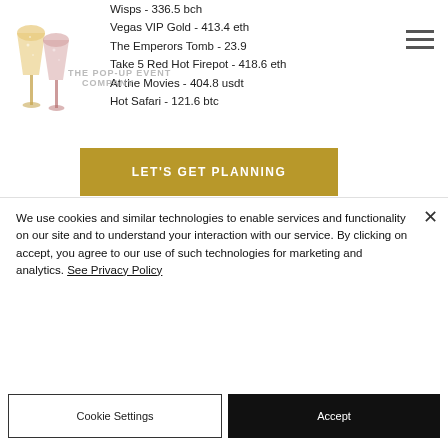[Figure (illustration): Two champagne glasses clinking, gold/pink color, website logo area]
Wisps - 336.5 bch
Vegas VIP Gold - 413.4 eth
The Emperors Tomb - 23.9
Take 5 Red Hot Firepot - 418.6 eth
At the Movies - 404.8 usdt
Hot Safari - 121.6 btc
LET'S GET PLANNING
Avalon - 10 dog
Best Slots Games:
Betchan Casino Gladiator
King Billy Casino Game Up
We use cookies and similar technologies to enable services and functionality on our site and to understand your interaction with our service. By clicking on accept, you agree to our use of such technologies for marketing and analytics. See Privacy Policy
Cookie Settings
Accept